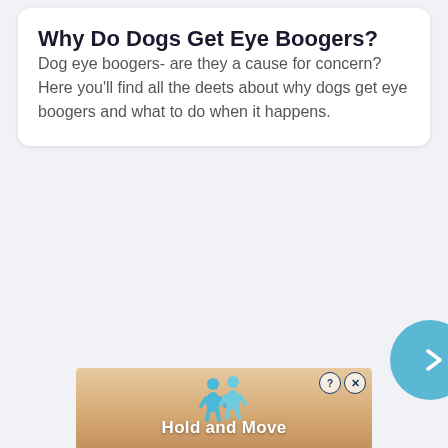Why Do Dogs Get Eye Boogers?
Dog eye boogers- are they a cause for concern? Here you'll find all the deets about why dogs get eye boogers and what to do when it happens.
[Figure (screenshot): Blue circular arrow/chevron button partially visible on right side]
[Figure (screenshot): Advertisement banner at bottom showing two blue 3D figures and text 'Hold and Move' with close buttons]